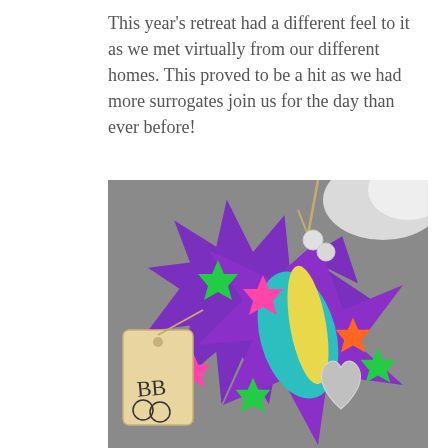This year's retreat had a different feel to it as we met virtually from our different homes. This proved to be a hit as we had more surrogates join us for the day than ever before!
[Figure (photo): A colorful star-shaped craft ornament decorated with multicolored star stickers, a glitter heart in the center, painted in purple, teal, and yellow, with two pearl beads near the top and a twine hanger. Beside it is a small wooden tag with 'BB' written on it, also attached with twine. The background is a grey surface with white fabric visible at the top right.]